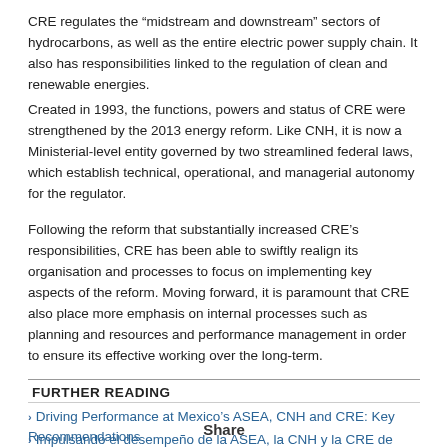CRE regulates the “midstream and downstream” sectors of hydrocarbons, as well as the entire electric power supply chain. It also has responsibilities linked to the regulation of clean and renewable energies.
Created in 1993, the functions, powers and status of CRE were strengthened by the 2013 energy reform. Like CNH, it is now a Ministerial-level entity governed by two streamlined federal laws, which establish technical, operational, and managerial autonomy for the regulator.
Following the reform that substantially increased CRE’s responsibilities, CRE has been able to swiftly realign its organisation and processes to focus on implementing key aspects of the reform. Moving forward, it is paramount that CRE also place more emphasis on internal processes such as planning and resources and performance management in order to ensure its effective working over the long-term.
FURTHER READING
Driving Performance at Mexico’s ASEA, CNH and CRE: Key Recommendations
Impulsando el desempeño de la ASEA, la CNH y la CRE de México: Recomendaciones clave
Share